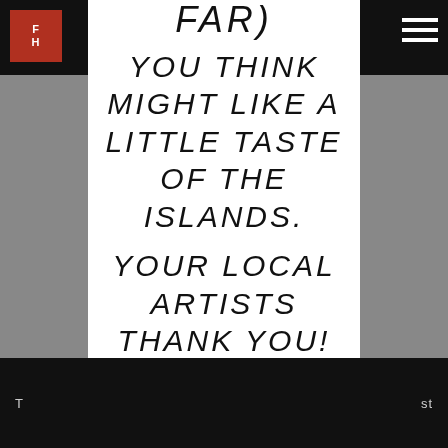[Figure (logo): Red square logo with letters FH in white]
FAR)
YOU THINK MIGHT LIKE A LITTLE TASTE OF THE ISLANDS.
YOUR LOCAL ARTISTS THANK YOU!
T ... st